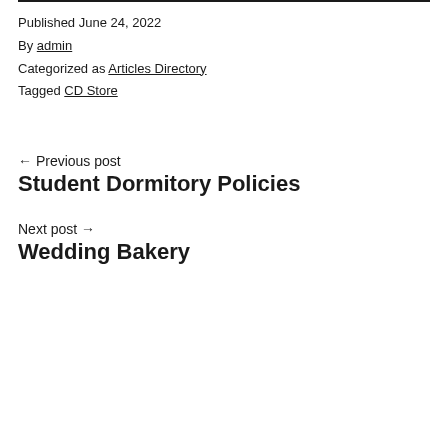Published June 24, 2022
By admin
Categorized as Articles Directory
Tagged CD Store
← Previous post
Student Dormitory Policies
Next post →
Wedding Bakery